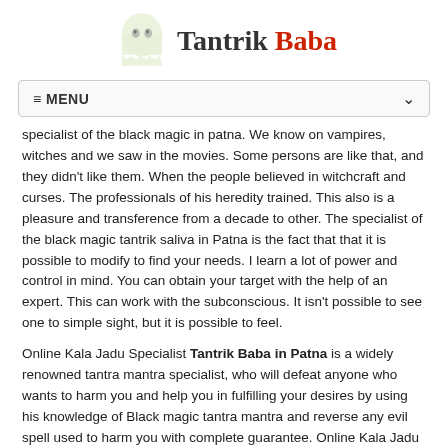[Figure (logo): Tantrik Baba logo with ghost icon and text 'Tantrik Baba' where 'Baba' is in red]
≡ MENU
specialist of the black magic in patna. We know on vampires, witches and we saw in the movies. Some persons are like that, and they didn't like them. When the people believed in witchcraft and curses. The professionals of his heredity trained. This also is a pleasure and transference from a decade to other. The specialist of the black magic tantrik saliva in Patna is the fact that that it is possible to modify to find your needs. I learn a lot of power and control in mind. You can obtain your target with the help of an expert. This can work with the subconscious. It isn't possible to see one to simple sight, but it is possible to feel.
Online Kala Jadu Specialist Tantrik Baba in Patna is a widely renowned tantra mantra specialist, who will defeat anyone who wants to harm you and help you in fulfilling your desires by using his knowledge of Black magic tantra mantra and reverse any evil spell used to harm you with complete guarantee. Online Kala Jadu Specialist Tantrik Baba in Patna Black magic has been used for centuries by people in our country to achieve their objectives, cause